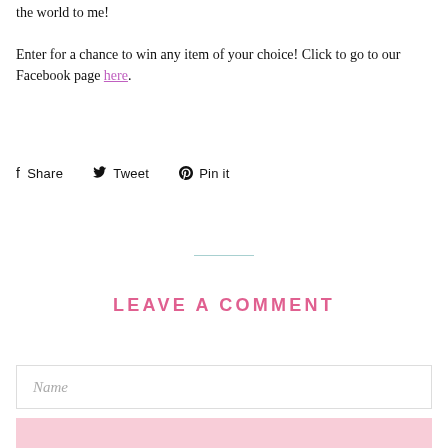the world to me! Enter for a chance to win any item of your choice! Click to go to our Facebook page here.
f Share   Tweet   Pin it
LEAVE A COMMENT
Name